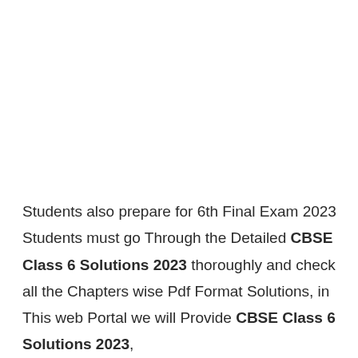Students also prepare for 6th Final Exam 2023 Students must go Through the Detailed CBSE Class 6 Solutions 2023 thoroughly and check all the Chapters wise Pdf Format Solutions, in This web Portal we will Provide CBSE Class 6 Solutions 2023,